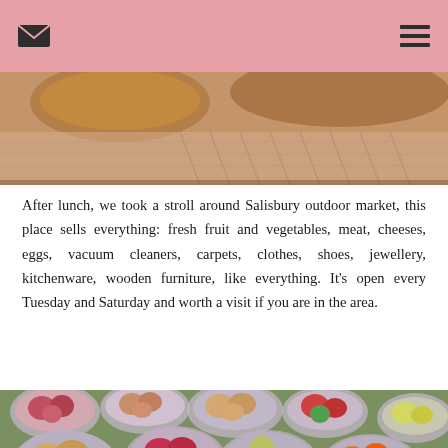[Figure (photo): Partial view of food items at a market stall, seen from above]
After lunch, we took a stroll around Salisbury outdoor market, this place sells everything: fresh fruit and vegetables, meat, cheeses, eggs, vacuum cleaners, carpets, clothes, shoes, jewellery, kitchenware, wooden furniture, like everything. It's open every Tuesday and Saturday and worth a visit if you are in the area.
[Figure (photo): Bowls of fresh fruit and vegetables including potatoes, pears, oranges, and red peppers displayed on a green surface at an outdoor market]